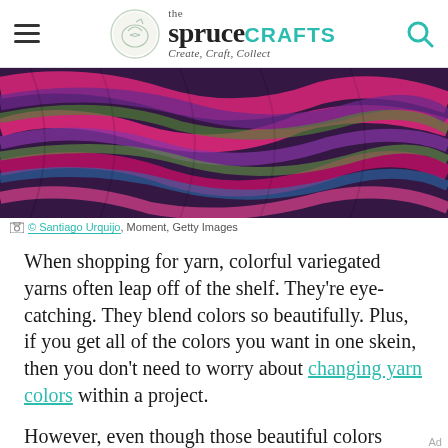the spruce CRAFTS — Create, Craft, Collect
[Figure (photo): Close-up of colorful variegated yarn skeins in pink, purple, green, and blue tones]
© Santiago Urquijo, Moment, Getty Images
When shopping for yarn, colorful variegated yarns often leap off of the shelf. They're eye-catching. They blend colors so beautifully. Plus, if you get all of the colors you want in one skein, then you don't need to worry about changing yarn colors within a project.
However, even though those beautiful colors